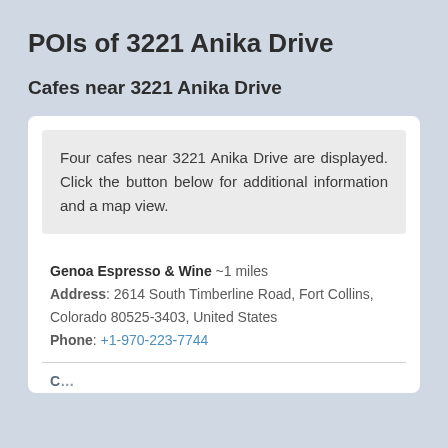POIs of 3221 Anika Drive
Cafes near 3221 Anika Drive
Four cafes near 3221 Anika Drive are displayed. Click the button below for additional information and a map view.
Genoa Espresso & Wine ~1 miles
Address: 2614 South Timberline Road, Fort Collins, Colorado 80525-3403, United States
Phone: +1-970-223-7744